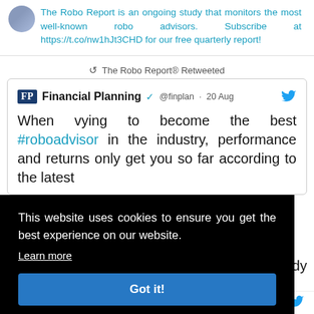The Robo Report is an ongoing study that monitors the most well-known robo advisors. Subscribe at https://t.co/nw1hJt3CHD for our free quarterly report!
The Robo Report® Retweeted
Financial Planning @finplan · 20 Aug — When vying to become the best #roboadvisor in the industry, performance and returns only get you so far according to the latest study
[Figure (screenshot): Cookie consent banner overlay on a webpage showing: 'This website uses cookies to ensure you get the best experience on our website. Learn more' with a 'Got it!' button]
has